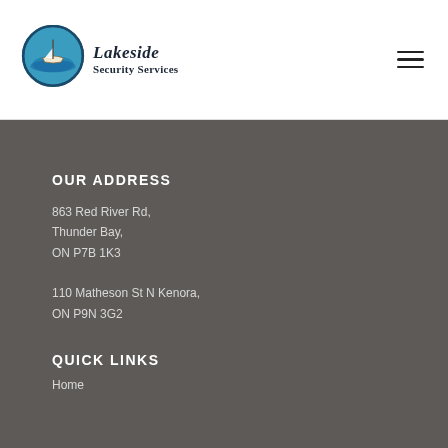[Figure (logo): Lakeside Security Services logo with circular blue emblem containing a boat/lake scene, and italic serif text reading 'Lakeside Security Services']
OUR ADDRESS
863 Red River Rd,
Thunder Bay,
ON P7B 1K3
110 Matheson St N Kenora,
ON P9N 3G2
QUICK LINKS
Home